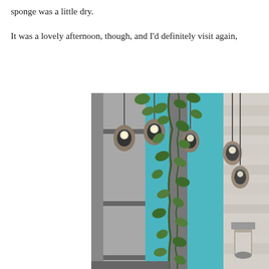sponge was a little dry.
It was a lovely afternoon, though, and I'd definitely visit again,
[Figure (photo): Outdoor terrace or patio area of a restaurant or cafe, showing hanging lantern-style lights, ivy/vine greenery climbing structural columns, teal/turquoise painted walls or windows visible in the background, and a stone wall on the right side. The photo is cropped and shows the decorative ambiance of the venue.]